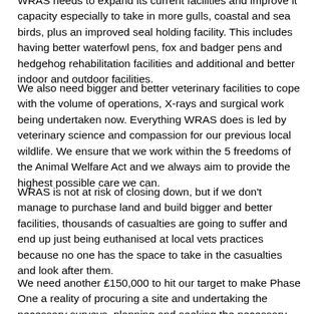WRAS needs to expand its current facilities and improve it capacity especially to take in more gulls, coastal and sea birds, plus an improved seal holding facility. This includes having better waterfowl pens, fox and badger pens and hedgehog rehabilitation facilities and additional and better indoor and outdoor facilities.
We also need bigger and better veterinary facilities to cope with the volume of operations, X-rays and surgical work being undertaken now. Everything WRAS does is led by veterinary science and compassion for our previous local wildlife. We ensure that we work within the 5 freedoms of the Animal Welfare Act and we always aim to provide the highest possible care we can.
WRAS is not at risk of closing down, but if we don't manage to purchase land and build bigger and better facilities, thousands of casualties are going to suffer and end up just being euthanised at local vets practices because no one has the space to take in the casualties and look after them.
We need another £150,000 to hit our target to make Phase One a reality of procuring a site and undertaking the necessary surveys, planning and seeking the necessary permissions. The total amount needed to set up this new Casualty Centre is not going to